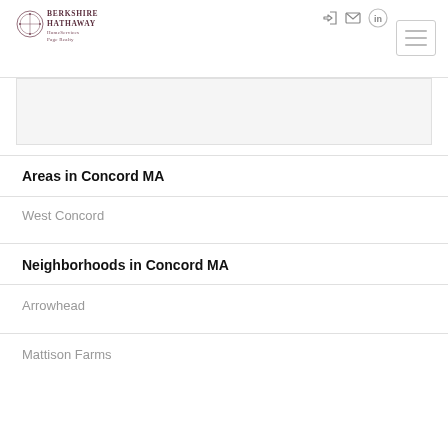Berkshire Hathaway HomeServices Page Realty — navigation header
Areas in Concord MA
West Concord
Neighborhoods in Concord MA
Arrowhead
Mattison Farms